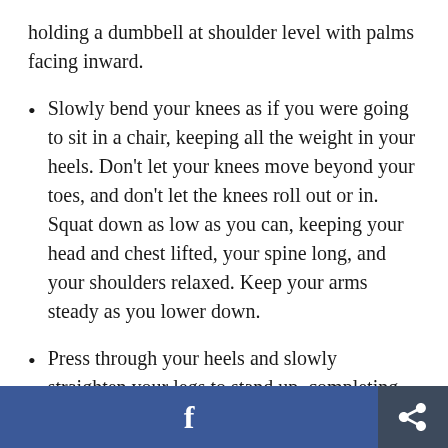holding a dumbbell at shoulder level with palms facing inward.
Slowly bend your knees as if you were going to sit in a chair, keeping all the weight in your heels. Don't let your knees move beyond your toes, and don't let the knees roll out or in. Squat down as low as you can, keeping your head and chest lifted, your spine long, and your shoulders relaxed. Keep your arms steady as you lower down.
Press through your heels and slowly straighten your legs to stand up, completing one rep.
f [share]